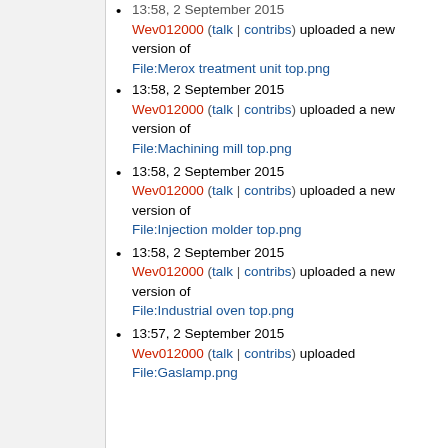13:58, 2 September 2015 Wev012000 (talk | contribs) uploaded a new version of File:Merox treatment unit top.png
13:58, 2 September 2015 Wev012000 (talk | contribs) uploaded a new version of File:Machining mill top.png
13:58, 2 September 2015 Wev012000 (talk | contribs) uploaded a new version of File:Injection molder top.png
13:58, 2 September 2015 Wev012000 (talk | contribs) uploaded a new version of File:Industrial oven top.png
13:57, 2 September 2015 Wev012000 (talk | contribs) uploaded File:Gaslamp.png